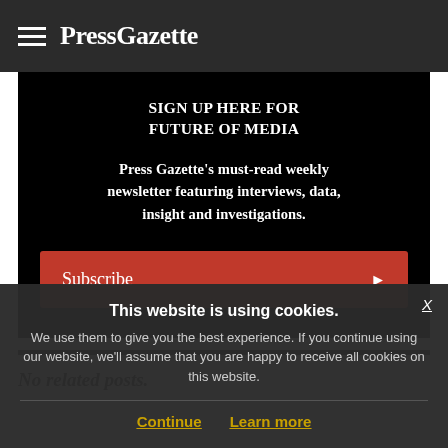≡ PressGazette
[Figure (other): Black promotional signup box for Future of Media newsletter with Subscribe button]
No related posts.
This website is using cookies. We use them to give you the best experience. If you continue using our website, we'll assume that you are happy to receive all cookies on this website.
Continue   Learn more